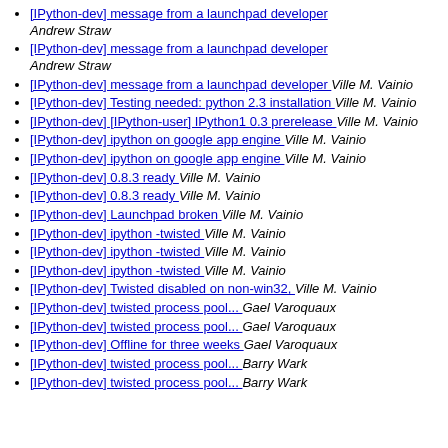[IPython-dev] message from a launchpad developer  Andrew Straw
[IPython-dev] message from a launchpad developer  Andrew Straw
[IPython-dev] message from a launchpad developer  Ville M. Vainio
[IPython-dev] Testing needed: python 2.3 installation  Ville M. Vainio
[IPython-dev] [IPython-user] IPython1 0.3 prerelease  Ville M. Vainio
[IPython-dev] ipython on google app engine  Ville M. Vainio
[IPython-dev] ipython on google app engine  Ville M. Vainio
[IPython-dev] 0.8.3 ready  Ville M. Vainio
[IPython-dev] 0.8.3 ready  Ville M. Vainio
[IPython-dev] Launchpad broken  Ville M. Vainio
[IPython-dev] ipython -twisted  Ville M. Vainio
[IPython-dev] ipython -twisted  Ville M. Vainio
[IPython-dev] ipython -twisted  Ville M. Vainio
[IPython-dev] Twisted disabled on non-win32,  Ville M. Vainio
[IPython-dev] twisted process pool...  Gael Varoquaux
[IPython-dev] twisted process pool...  Gael Varoquaux
[IPython-dev] Offline for three weeks  Gael Varoquaux
[IPython-dev] twisted process pool...  Barry Wark
[IPython-dev] twisted process pool...  Barry Wark